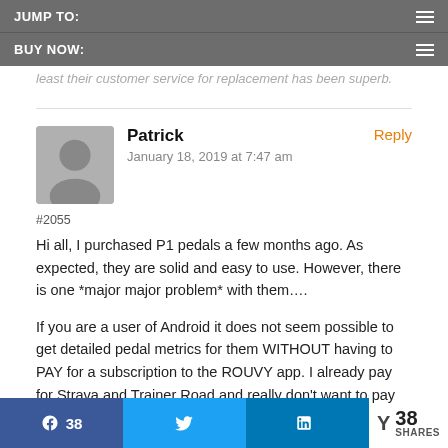JUMP TO:
BUY NOW:
least their customer service for replacement has been superb.
#2055
Patrick
January 18, 2019 at 7:47 am
Hi all, I purchased P1 pedals a few months ago. As expected, they are solid and easy to use. However, there is one *major major problem* with them....
If you are a user of Android it does not seem possible to get detailed pedal metrics for them WITHOUT having to PAY for a subscription to the ROUVY app. I already pay for Strava and Trainer Road and really don't want to pay for another app.